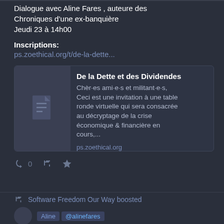Dialogue avec Aline Fares , auteure des Chroniques d’une ex-banquière
Jeudi 23 à 14h00
Inscriptions:
ps.zoethical.org/t/de-la-dette...
[Figure (screenshot): Embedded link card showing 'De la Dette et des Dividendes' with a document icon thumbnail, description text, and ps.zoethical.org URL]
0
Software Freedom Our Way boosted